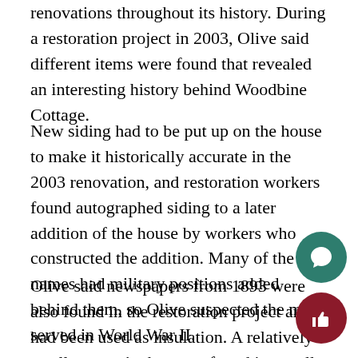renovations throughout its history. During a restoration project in 2003, Olive said different items were found that revealed an interesting history behind Woodbine Cottage.
New siding had to be put up on the house to make it historically accurate in the 2003 renovation, and restoration workers found autographed siding to a later addition of the house by workers who constructed the addition. Many of the names had military positions added behind them, so Olive suspected the men served in World War II.
Olive said newspapers from 1893 were also found in the restoration project and had been used as insulation. A relatively small women's shoe was found in a wall along with perfume bottles, 60 to 80 shotgun shells and prime. Someone stuffed the shells through a hole in the wall, O said.
Other secrets throughout the house included children's